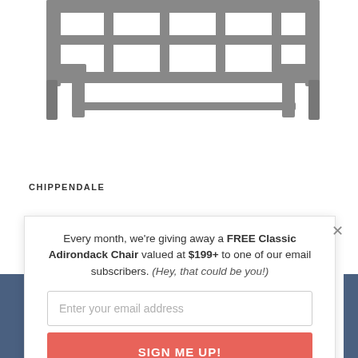[Figure (photo): Gray Chippendale outdoor bench/chair furniture product photo, top portion visible]
CHIPPENDALE
Every month, we're giving away a FREE Classic Adirondack Chair valued at $199+ to one of our email subscribers. (Hey, that could be you!)
Enter your email address
SIGN ME UP!
One (1) winner will be selected at random at the end of every month and contacted by email. U.S. entrants only.